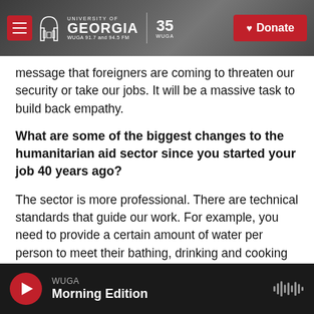University of Georgia WUGA 91.7 and 94.5 FM | 35 WUGA | Donate
message that foreigners are coming to threaten our security or take our jobs. It will be a massive task to build back empathy.
What are some of the biggest changes to the humanitarian aid sector since you started your job 40 years ago?
The sector is more professional. There are technical standards that guide our work. For example, you need to provide a certain amount of water per person to meet their bathing, drinking and cooking needs when you set up a refugee
WUGA Morning Edition